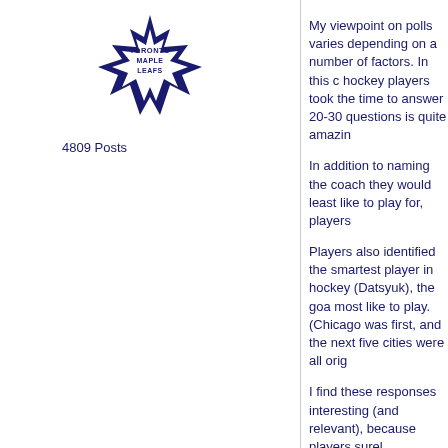[Figure (logo): Toronto Maple Leafs logo — maple leaf with team name text]
4809 Posts
My viewpoint on polls varies depending on a number of factors. In this case, hockey players took the time to answer 20-30 questions is quite amazin...
In addition to naming the coach they would least like to play for, players...
Players also identified the smartest player in hockey (Datsyuk), the goa... most like to play. (Chicago was first, and the next five cities were all orig...
I find these responses interesting (and relevant), because players surel...
I'm not suggesting that fans don't have an educated opinion, but let's no...
I don't know about you, but I don't personally know too many NHL playe... to the analysts, reading the paper, etc. (And it's the writers, analysts wh...
So it's nice to get feedback directly from the players once in a while (un...
As it relates to where Tortorella finished in the recent NHLPA players' p... sometimes get to choose where they play, and factors considered may... culture, where the team is headed, etc. And while probably not a big fac... appreciate. (Even knowing that coaches can be fired at any given time.
There have been more than a few players who wanted out of a city bec... given the opportunity to pick a team, would go where they like and resp...
When 59% of polled players state they wouldn't want to play for a spec...